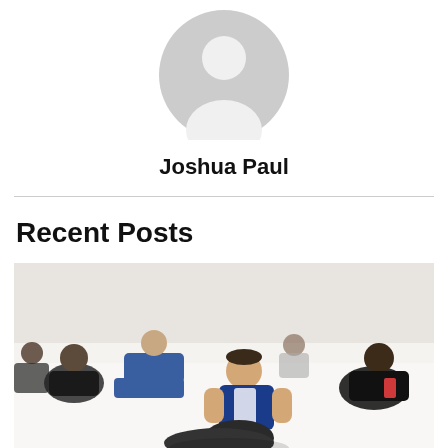[Figure (illustration): Generic grey user avatar/profile placeholder icon — a circle with a person silhouette]
Joshua Paul
Recent Posts
[Figure (photo): Martial arts (BJJ/grappling) class photo: a man in a blue rashguard grappling on a white mat, with other students sitting around the perimeter watching]